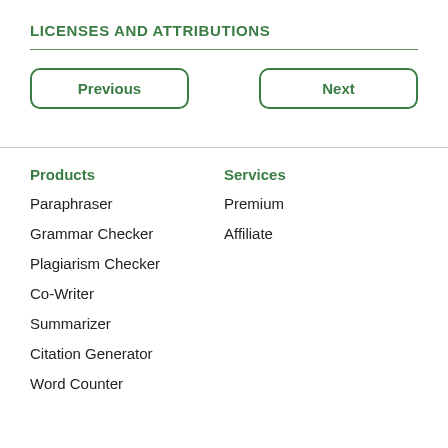LICENSES AND ATTRIBUTIONS
Previous
Next
Products
Paraphraser
Grammar Checker
Plagiarism Checker
Co-Writer
Summarizer
Citation Generator
Word Counter
Services
Premium
Affiliate